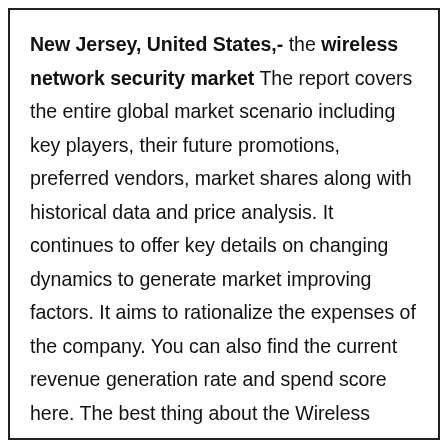New Jersey, United States,- the wireless network security market The report covers the entire global market scenario including key players, their future promotions, preferred vendors, market shares along with historical data and price analysis. It continues to offer key details on changing dynamics to generate market improving factors. It aims to rationalize the expenses of the company. You can also find the current revenue generation rate and spend score here. The best thing about the Wireless Network Security market report is the provision of guidelines and strategies followed by key market players. The investment opportunities in the market highlighted here will be